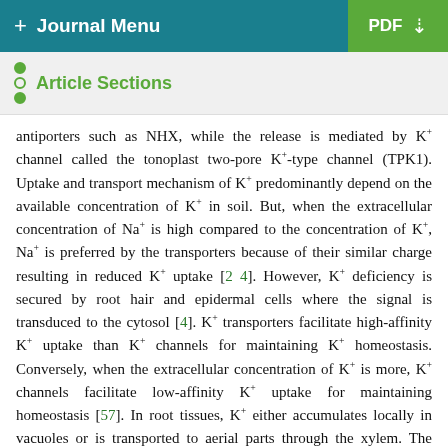+ Journal Menu | PDF ↓
Article Sections
antiporters such as NHX, while the release is mediated by K+ channel called the tonoplast two-pore K+-type channel (TPK1). Uptake and transport mechanism of K+ predominantly depend on the available concentration of K+ in soil. But, when the extracellular concentration of Na+ is high compared to the concentration of K+, Na+ is preferred by the transporters because of their similar charge resulting in reduced K+ uptake [24]. However, K+ deficiency is secured by root hair and epidermal cells where the signal is transduced to the cytosol [4]. K+ transporters facilitate high-affinity K+ uptake than K+ channels for maintaining K+ homeostasis. Conversely, when the extracellular concentration of K+ is more, K+ channels facilitate low-affinity K+ uptake for maintaining homeostasis [57]. In root tissues, K+ either accumulates locally in vacuoles or is transported to aerial parts through the xylem. The excessive K+ surpassing the nutritional requirements is accumulated in the vacuoles, generates turgor pressure and aids in cell expansion